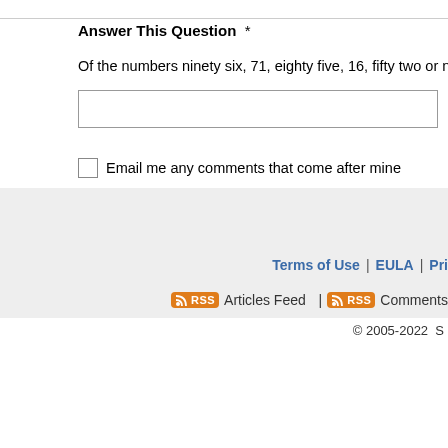Answer This Question  *
Of the numbers ninety six, 71, eighty five, 16, fifty two or ninety two, which is
Email me any comments that come after mine
Submit Comment
Terms of Use | EULA | Pri
Articles Feed | Comments
© 2005-2022 S